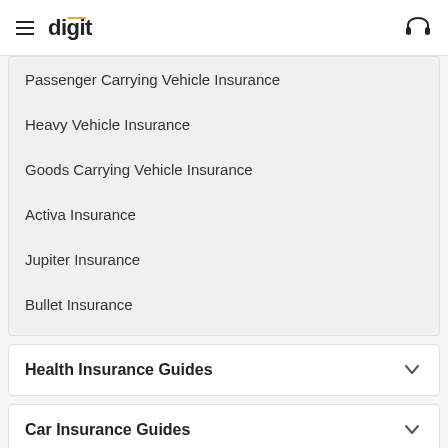digit
Passenger Carrying Vehicle Insurance
Heavy Vehicle Insurance
Goods Carrying Vehicle Insurance
Activa Insurance
Jupiter Insurance
Bullet Insurance
Health Insurance Guides
Car Insurance Guides
Bike Insurance Guides